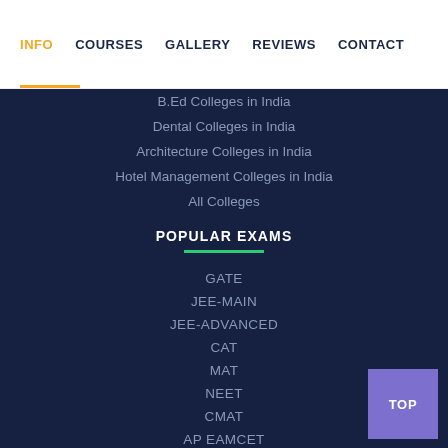INFO | COURSES | GALLERY | REVIEWS | CONTACT
B.Ed Colleges in India
Dental Colleges in India
Architecture Colleges in India
Hotel Management Colleges in India
All Colleges
POPULAR EXAMS
GATE
JEE-MAIN
JEE-ADVANCED
CAT
MAT
NEET
CMAT
AP EAMCET
TS EAMCET
KEAM
TNEA
OJEE